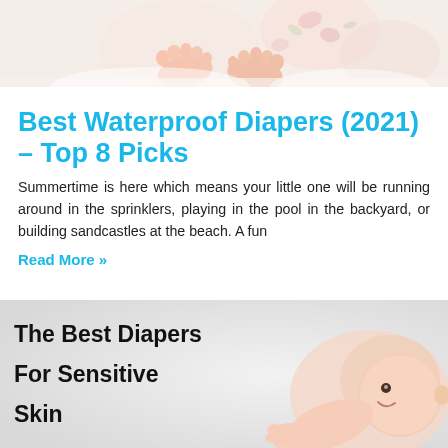[Figure (photo): Close-up photo of baby feet/toes against a soft floral background]
Best Waterproof Diapers (2021) – Top 8 Picks
Summertime is here which means your little one will be running around in the sprinklers, playing in the pool in the backyard, or building sandcastles at the beach. A fun
Read More »
[Figure (photo): Photo of a smiling baby lying down with text overlay reading 'The Best Diapers For Sensitive Skin']